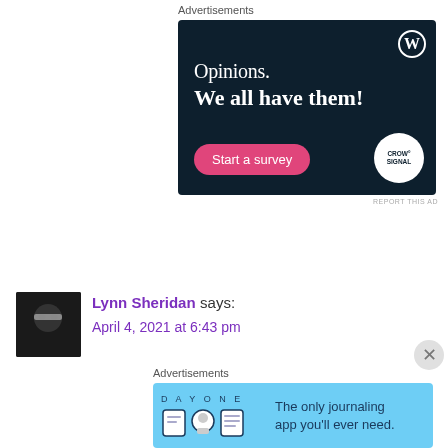Advertisements
[Figure (illustration): Dark navy advertisement banner for Crowdsignal/WordPress with text 'Opinions. We all have them!' and a pink 'Start a survey' button. WordPress logo top right, Crowdsignal logo bottom right.]
REPORT THIS AD
Lynn Sheridan says:
April 4, 2021 at 6:43 pm
Advertisements
[Figure (illustration): Blue advertisement banner for Day One journaling app with icons and text 'The only journaling app you'll ever need.']